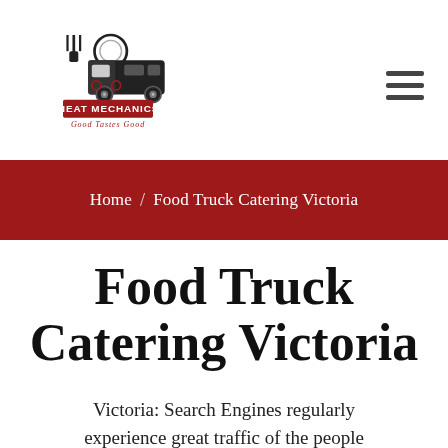[Figure (logo): Meat Mechanics logo — food truck illustration with fork and plate, text 'MEAT MECHANICS' and tagline 'Good Tastes Good']
Home / Food Truck Catering Victoria
Food Truck Catering Victoria
Victoria: Search Engines regularly experience great traffic of the people